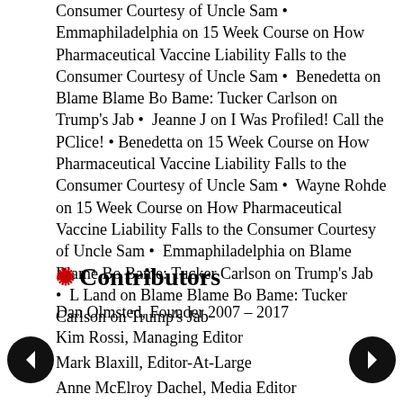Consumer Courtesy of Uncle Sam • Emmaphiladelphia on 15 Week Course on How Pharmaceutical Vaccine Liability Falls to the Consumer Courtesy of Uncle Sam • Benedetta on Blame Blame Bo Bame: Tucker Carlson on Trump's Jab • Jeanne J on I Was Profiled! Call the PClice! • Benedetta on 15 Week Course on How Pharmaceutical Vaccine Liability Falls to the Consumer Courtesy of Uncle Sam • Wayne Rohde on 15 Week Course on How Pharmaceutical Vaccine Liability Falls to the Consumer Courtesy of Uncle Sam • Emmaphiladelphia on Blame Blame Bo Bame: Tucker Carlson on Trump's Jab • L Land on Blame Blame Bo Bame: Tucker Carlson on Trump's Jab
Contributors
Dan Olmsted, Founder 2007 - 2017
Kim Rossi, Managing Editor
Mark Blaxill, Editor-At-Large
Anne McElroy Dachel, Media Editor